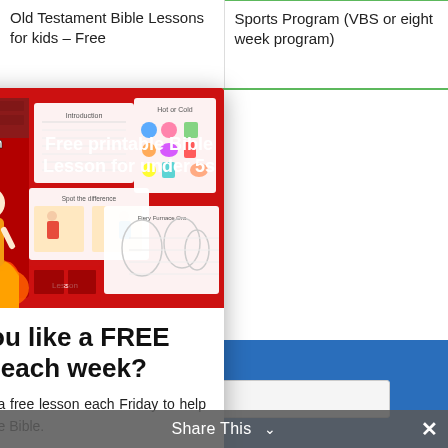Old Testament Bible Lessons for kids – Free
Sports Program (VBS or eight week program)
[Figure (illustration): Promotional image for a free printable Bible lesson for under 5s, featuring Shadrach Meshach and Abednego with cartoon characters in flames, and sample worksheet pages. Red background with 'Trueway Kids' branding.]
Would you like a FREE lesson each week?
We'd love to send you a free lesson each Friday to help your children explore the Bible.
Each lesson includes a lesson guide, fun and educational worksheets, coloring pages,
Share This